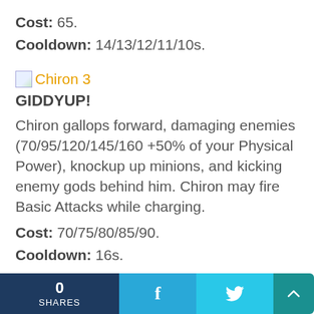Cost: 65.
Cooldown: 14/13/12/11/10s.
Chiron 3
GIDDYUP!
Chiron gallops forward, damaging enemies (70/95/120/145/160 +50% of your Physical Power), knockup up minions, and kicking enemy gods behind him. Chiron may fire Basic Attacks while charging.
Cost: 70/75/80/85/90.
Cooldown: 16s.
CENTAURUS
0 SHARES  f  🐦  ↑